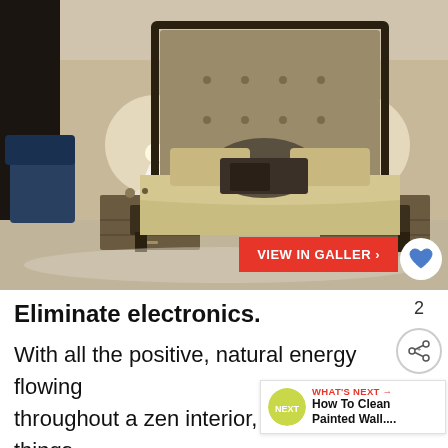[Figure (photo): A modern bedroom showroom display featuring a large upholstered bed with tall tufted headboard in taupe/gold fabric, decorated with multiple pillows in beige and dark gray/brown tones. Two dark wood nightstands flank the bed, each with a white sculptural lamp. The bed has a low platform frame in dark wood. A blue tufted chair is visible on the left. Light-colored carpet on the floor. Background walls are beige/cream.]
Eliminate electronics.
With all the positive, natural energy flowing throughout a zen interior, very few things are as abrasive to that positivity as